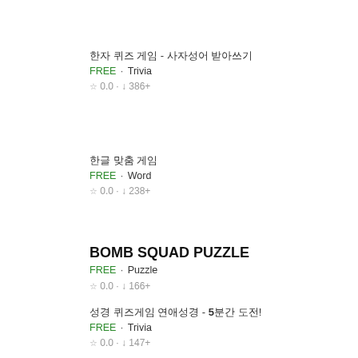한자 퀴즈 게임 - 사자성어 받아쓰기
FREE · Trivia
☆ 0.0 · ↓ 386+
한글 맞춤 게임
FREE · Word
☆ 0.0 · ↓ 238+
BOMB SQUAD PUZZLE
FREE · Puzzle
☆ 0.0 · ↓ 166+
성경 퀴즈게임 연애성경 - 5분간 도전!
FREE · Trivia
☆ 0.0 · ↓ 147+